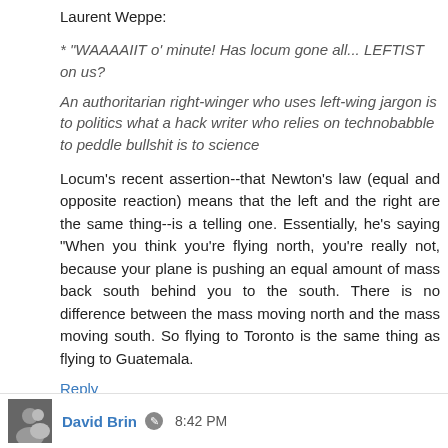Laurent Weppe:
* "WAAAAIIT o' minute! Has locum gone all... LEFTIST on us?
An authoritarian right-winger who uses left-wing jargon is to politics what a hack writer who relies on technobabble to peddle bullshit is to science
Locum's recent assertion--that Newton's law (equal and opposite reaction) means that the left and the right are the same thing--is a telling one. Essentially, he's saying "When you think you're flying north, you're really not, because your plane is pushing an equal amount of mass back south behind you to the south. There is no difference between the mass moving north and the mass moving south. So flying to Toronto is the same thing as flying to Guatemala.
Reply
David Brin  8:42 PM